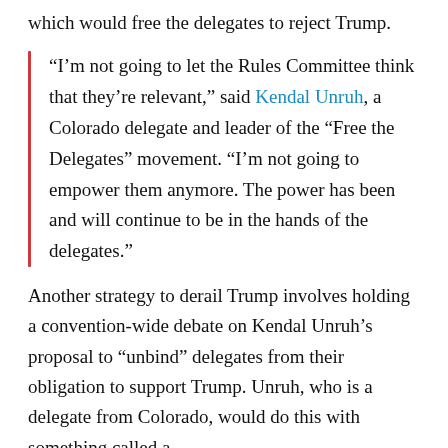which would free the delegates to reject Trump.
“I’m not going to let the Rules Committee think that they’re relevant,” said Kendal Unruh, a Colorado delegate and leader of the “Free the Delegates” movement. “I’m not going to empower them anymore. The power has been and will continue to be in the hands of the delegates.”
Another strategy to derail Trump involves holding a convention-wide debate on Kendal Unruh’s proposal to “unbind” delegates from their obligation to support Trump. Unruh, who is a delegate from Colorado, would do this with something called a